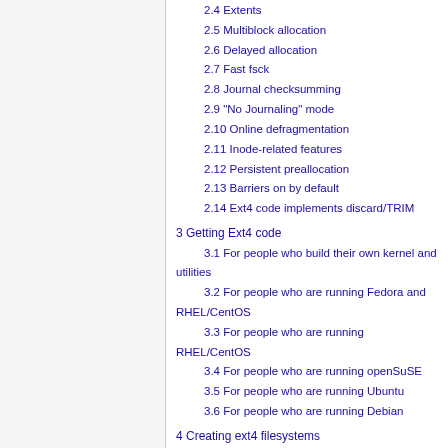2.4 Extents
2.5 Multiblock allocation
2.6 Delayed allocation
2.7 Fast fsck
2.8 Journal checksumming
2.9 "No Journaling" mode
2.10 Online defragmentation
2.11 Inode-related features
2.12 Persistent preallocation
2.13 Barriers on by default
2.14 Ext4 code implements discard/TRIM
3 Getting Ext4 code
3.1 For people who build their own kernel and utilities
3.2 For people who are running Fedora and RHEL/CentOS
3.3 For people who are running RHEL/CentOS
3.4 For people who are running openSuSE
3.5 For people who are running Ubuntu
3.6 For people who are running Debian
4 Creating ext4 filesystems